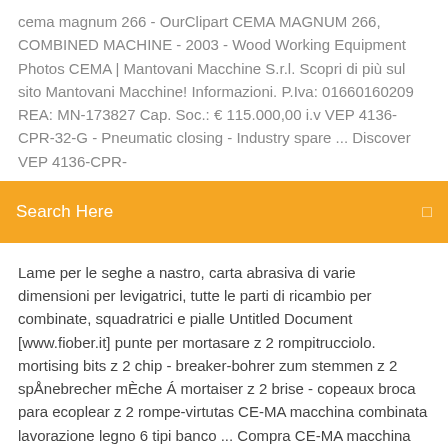cema magnum 266 - OurClipart CEMA MAGNUM 266, COMBINED MACHINE - 2003 - Wood Working Equipment Photos CEMA | Mantovani Macchine S.r.l. Scopri di più sul sito Mantovani Macchine! Informazioni. P.Iva: 01660160209 REA: MN-173827 Cap. Soc.: € 115.000,00 i.v VEP 4136-CPR-32-G - Pneumatic closing - Industry spare ... Discover VEP 4136-CPR-
[Figure (screenshot): Orange search bar with 'Search Here' placeholder text and a small search icon on the right]
Lame per le seghe a nastro, carta abrasiva di varie dimensioni per levigatrici, tutte le parti di ricambio per combinate, squadratrici e pialle Untitled Document [www.fiober.it] punte per mortasare z 2 rompitrucciolo. mortising bits z 2 chip - breaker-bohrer zum stemmen z 2 spÅnebrecher mÈche Á mortaiser z 2 brise - copeaux broca para ecoplear z 2 rompe-virtutas CE-MA macchina combinata lavorazione legno 6 tipi banco ... Compra CE-MA macchina combinata lavorazione legno 6 tipi banco sega professionale K156 a prezzi vantaggiosi su Amazon.it